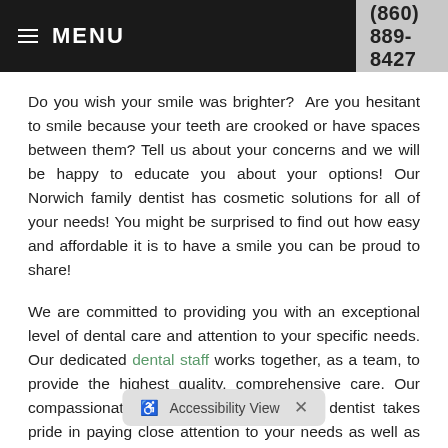MENU   (860) 889-8427
Do you wish your smile was brighter?  Are you hesitant to smile because your teeth are crooked or have spaces between them? Tell us about your concerns and we will be happy to educate you about your options! Our Norwich family dentist has cosmetic solutions for all of your needs! You might be surprised to find out how easy and affordable it is to have a smile you can be proud to share!
We are committed to providing you with an exceptional level of dental care and attention to your specific needs. Our dedicated dental staff works together, as a team, to provide the highest quality, comprehensive care. Our compassionate and understanding family dentist takes pride in paying close attention to your needs as well as your wishes.
Most importantly, we ar... our goal is to